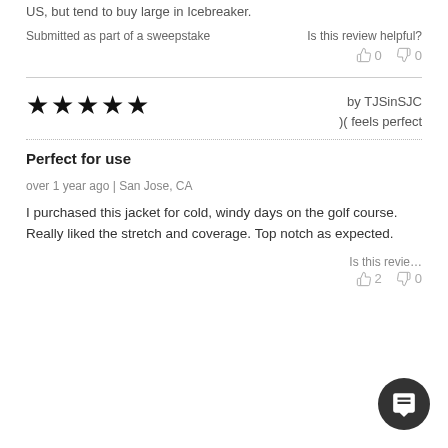US, but tend to buy large in Icebreaker.
Submitted as part of a sweepstake
Is this review helpful?
👍 0   👎 0
★★★★★   by TJSinSJC )( feels perfect
Perfect for use
over 1 year ago | San Jose, CA
I purchased this jacket for cold, windy days on the golf course. Really liked the stretch and coverage. Top notch as expected.
Is this review helpful?
👍 2   👎 0